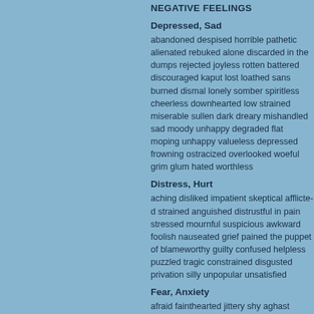NEGATIVE FEELINGS
Depressed, Sad
abandoned despised horrible pathetic alienated rebuked alone discarded in the dumps rejected joyless rotten battered discouraged kaput lost loathed sans burned dismal lonely somber spiritless cheerless downhearted low strained miserable sullen dark dreary mishandled sad moody unhappy degraded flat moping unloved valueless depressed frowning ostracized pained overlooked woeful grim glum hated worthless
Distress, Hurt
aching disliked impatient skeptical afflicted strained anguished distrustful in pain stressed mournful suspicious awkward foolish nauseated grief pained the puppet of blameworthy guilty confused helpless puzzled tragic constrained disgusted privation silly unpopular unsatisfied
Fear, Anxiety
afraid fainthearted jittery shy aghast fearful frightened misgiving suspicious anxious horrified apprehensive horrified overwhelmed terrified paranoid timid chicken in fear petrified timorous restless uncomfortable dismayed jealous